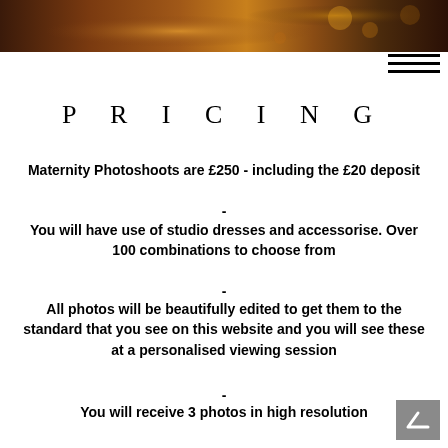[Figure (photo): Close-up warm-toned maternity photo banner at top of page, brown/gold tones]
PRICING
Maternity Photoshoots are £250 - including the £20 deposit
-
You will have use of studio dresses and accessorise. Over 100 combinations to choose from
-
All photos will be beautifully edited to get them to the standard that you see on this website and you will see these at a personalised viewing session
-
You will receive 3 photos in high resolution